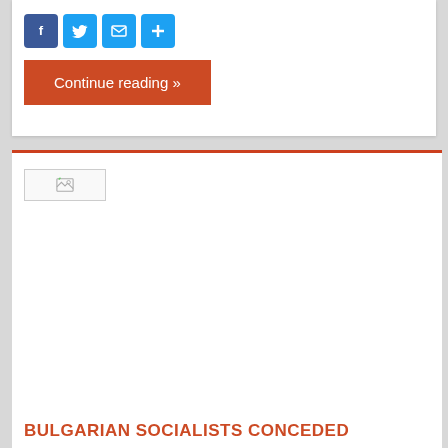[Figure (other): Social share icons: Facebook (blue), Twitter (blue), Email (blue), Add/Plus (blue)]
Continue reading »
[Figure (photo): Broken/missing image placeholder with small icon in top-left corner]
BULGARIAN SOCIALISTS CONCEDED